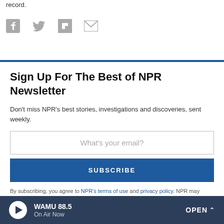record.
[Figure (infographic): Social share icons: Facebook, Twitter, Flipboard, Email]
Sign Up For The Best of NPR Newsletter
Don't miss NPR's best stories, investigations and discoveries, sent weekly.
What's your email?
SUBSCRIBE
By subscribing, you agree to NPR's terms of use and privacy policy. NPR may share your name and email address with your NPR station. See Details. This
WAMU 88.5 On Air Now OPEN